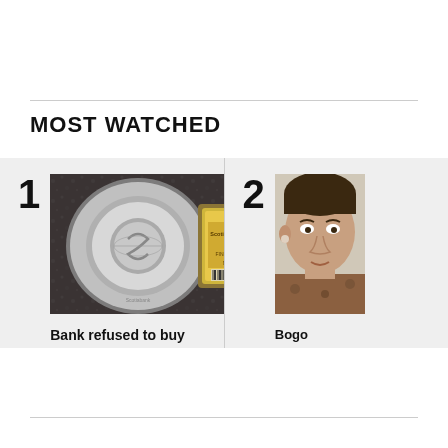MOST WATCHED
1 — Bank refused to buy back customer's gold, silver
[Figure (photo): Photo of a Scotiabank silver coin in a plastic case and a 5 oz Fine Gold 999.9 bar in a plastic holder on a granite counter, with a blue play button triangle overlay in the bottom right.]
2 — Bogo... schoo...
[Figure (photo): Partial photo of a man's face (cropped on right edge of page), appearing to wear a floral shirt.]